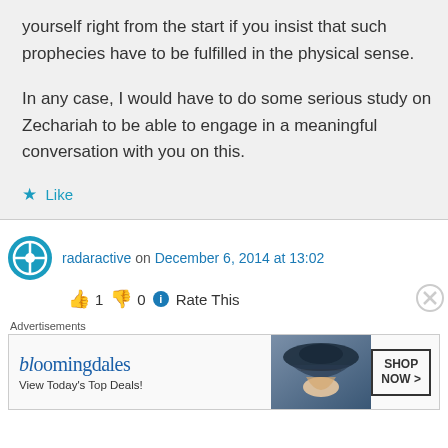yourself right from the start if you insist that such prophecies have to be fulfilled in the physical sense.

In any case, I would have to do some serious study on Zechariah to be able to engage in a meaningful conversation with you on this.
★ Like
radaractive on December 6, 2014 at 13:02
👍 1 👎 0 ℹ Rate This
Advertisements
[Figure (other): Bloomingdale's advertisement banner: 'bloomingdales View Today's Top Deals!' with a woman in a hat and 'SHOP NOW >' button]